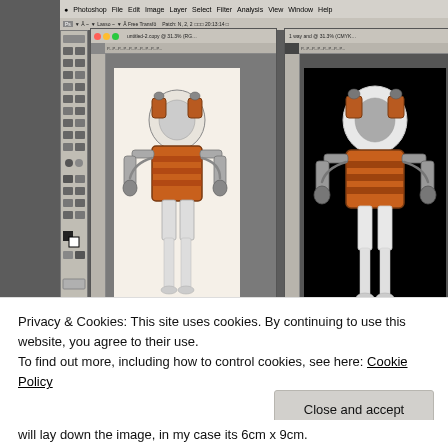[Figure (screenshot): Photoshop application window showing two versions of a comic-book style robot/astronaut illustration: left panel on light cream background, right panel on black background. The figure is a humanoid character wearing an orange suit with mechanical limbs and a helmet.]
Privacy & Cookies: This site uses cookies. By continuing to use this website, you agree to their use.
To find out more, including how to control cookies, see here: Cookie Policy
Close and accept
will lay down the image, in my case its 6cm x 9cm.